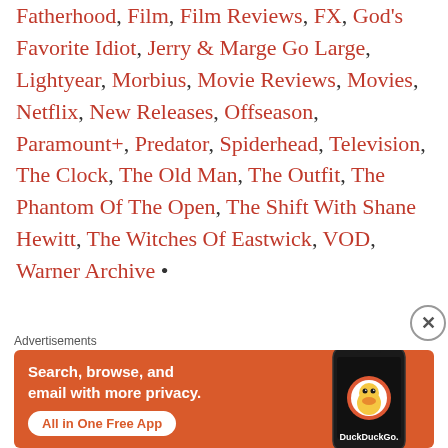Fatherhood, Film, Film Reviews, FX, God's Favorite Idiot, Jerry & Marge Go Large, Lightyear, Morbius, Movie Reviews, Movies, Netflix, New Releases, Offseason, Paramount+, Predator, Spiderhead, Television, The Clock, The Old Man, The Outfit, The Phantom Of The Open, The Shift With Shane Hewitt, The Witches Of Eastwick, VOD, Warner Archive •
[Figure (other): DuckDuckGo advertisement banner: orange background with white bold text 'Search, browse, and email with more privacy.' and 'All in One Free App' button, with a smartphone showing DuckDuckGo logo on the right side.]